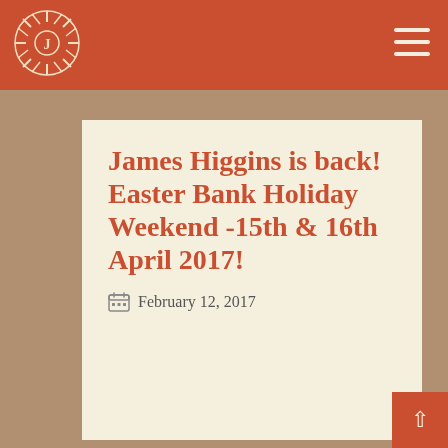James Higgins is back! Easter Bank Holiday Weekend -15th & 16th April 2017!
James Higgins is back! Easter Bank Holiday Weekend -15th & 16th April 2017!
February 12, 2017